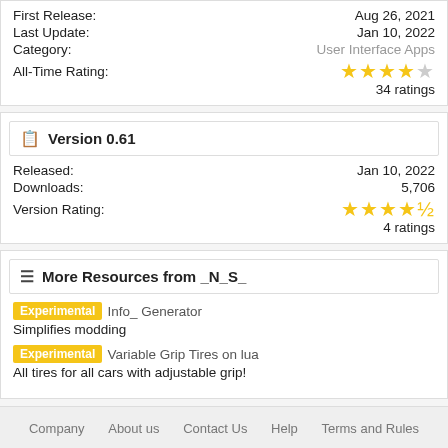| Field | Value |
| --- | --- |
| First Release: | Aug 26, 2021 |
| Last Update: | Jan 10, 2022 |
| Category: | User Interface Apps |
| All-Time Rating: | ★★★★☆ 34 ratings |
Version 0.61
| Field | Value |
| --- | --- |
| Released: | Jan 10, 2022 |
| Downloads: | 5,706 |
| Version Rating: | ★★★★½ 4 ratings |
More Resources from _N_S_
Experimental Info_ Generator — Simplifies modding
Experimental Variable Grip Tires on lua — All tires for all cars with adjustable grip!
Company   About us   Contact Us   Help   Terms and Rules